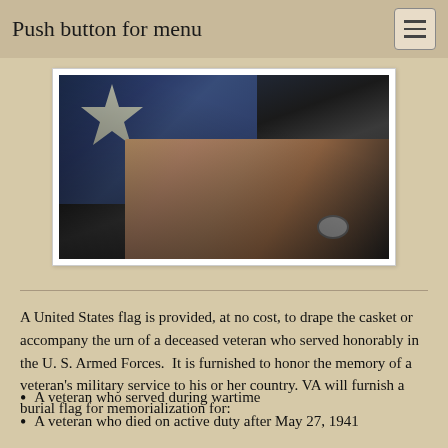Push button for menu
[Figure (photo): Hands holding a folded United States flag, appearing to be a military funeral flag presentation. One person in a dark suit with a watch is holding the flag.]
A United States flag is provided, at no cost, to drape the casket or accompany the urn of a deceased veteran who served honorably in the U. S. Armed Forces.  It is furnished to honor the memory of a veteran's military service to his or her country. VA will furnish a burial flag for memorialization for:
A veteran who served during wartime
A veteran who died on active duty after May 27, 1941